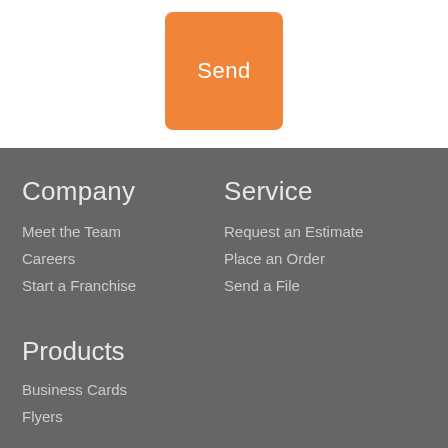Send
Company
Meet the Team
Careers
Start a Franchise
Service
Request an Estimate
Place an Order
Send a File
Products
Business Cards
Flyers